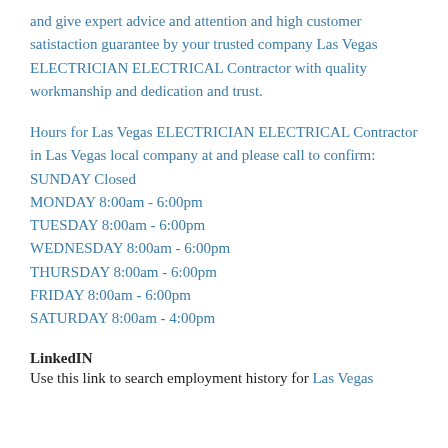and give expert advice and attention and high customer satistaction guarantee by your trusted company Las Vegas ELECTRICIAN ELECTRICAL Contractor with quality workmanship and dedication and trust.
Hours for Las Vegas ELECTRICIAN ELECTRICAL Contractor in Las Vegas local company at and please call to confirm:
SUNDAY Closed
MONDAY 8:00am - 6:00pm
TUESDAY 8:00am - 6:00pm
WEDNESDAY 8:00am - 6:00pm
THURSDAY 8:00am - 6:00pm
FRIDAY 8:00am - 6:00pm
SATURDAY 8:00am - 4:00pm
LinkedIN
Use this link to search employment history for Las Vegas